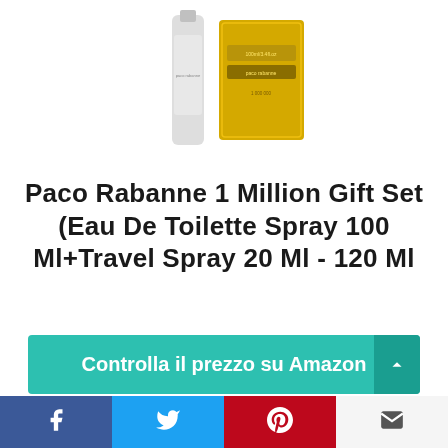[Figure (photo): Product photo of Paco Rabanne 1 Million gift set showing a travel spray bottle and a gold rectangular fragrance bottle]
Paco Rabanne 1 Million Gift Set (Eau De Toilette Spray 100 Ml+Travel Spray 20 Ml - 120 Ml
Controlla il prezzo su Amazon
Amazon.it